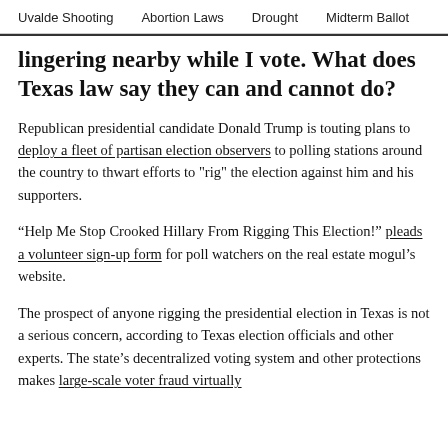Uvalde Shooting    Abortion Laws    Drought    Midterm Ballot
lingering nearby while I vote. What does Texas law say they can and cannot do?
Republican presidential candidate Donald Trump is touting plans to deploy a fleet of partisan election observers to polling stations around the country to thwart efforts to "rig" the election against him and his supporters.
“Help Me Stop Crooked Hillary From Rigging This Election!” pleads a volunteer sign-up form for poll watchers on the real estate mogul’s website.
The prospect of anyone rigging the presidential election in Texas is not a serious concern, according to Texas election officials and other experts. The state’s decentralized voting system and other protections makes large-scale voter fraud virtually